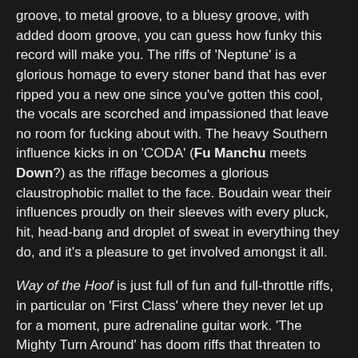groove, to metal groove, to a bluesy groove, with added doom groove, you can guess how funky this record will make you. The riffs of 'Neptune' is a glorious homage to every stoner band that has ever ripped you a new one since you've gotten this cool, the vocals are scorched and impassioned that leave no room for fucking about with. The heavy Southern influence kicks in on 'CODA' (Fu Manchu meets Down?) as the riffage becomes a glorious claustrophobic mallet to the face. Boudain wear their influences proudly on their sleeves with every pluck, hit, head-bang and droplet of sweat in everything they do, and it's a pleasure to get involved amongst it all.
Way of the Hoof is just full of fun and full-throttle riffs, in particular on 'First Class' where they never let up for a moment, pure adrenaline guitar work. 'The Mighty Turn Around' has doom riffs that threaten to topple over and crush you, before the excellent 'Disco Jimmy' and 'Godzilla' close the record with thunderous god like riffing that clench the fist and shout "HELL YEAH"!!
Way of the Hoof is such a fun, pummelling record that it